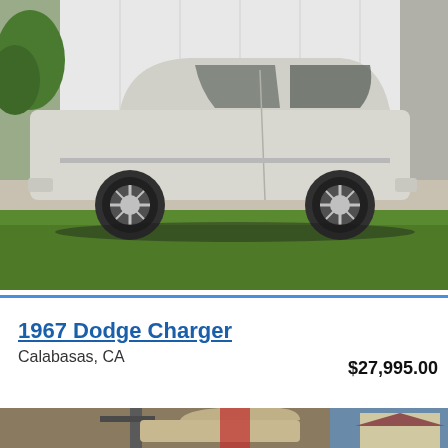[Figure (photo): Side view of a white 1967 Dodge Charger parked on gravel driveway in front of a white building, with green grass in the foreground. Car appears to need restoration.]
1967 Dodge Charger
Calabasas, CA
$27,995.00
[Figure (photo): Partial view of another car listing photo showing a vehicle in a garage/workshop setting.]